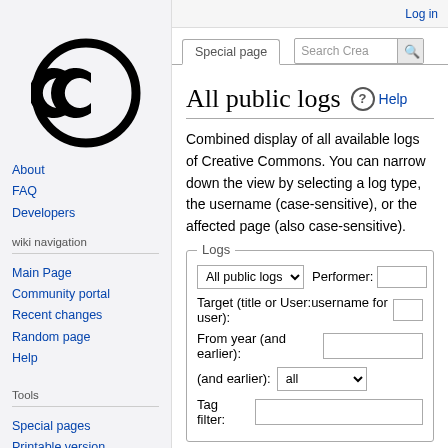Log in
[Figure (logo): Creative Commons CC logo — black circle with CC letters inside]
About
FAQ
Developers
wiki navigation
Main Page
Community portal
Recent changes
Random page
Help
Tools
Special pages
Printable version
All public logs
Combined display of all available logs of Creative Commons. You can narrow down the view by selecting a log type, the username (case-sensitive), or the affected page (also case-sensitive).
Logs
All public logs  Performer:
Target (title or User:username for user):
From year (and earlier):
(and earlier): all
Tag filter: